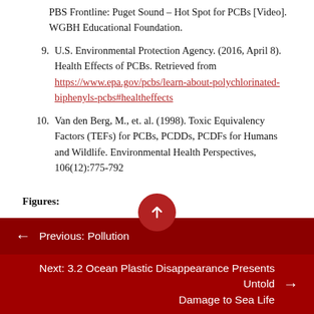PBS Frontline: Puget Sound – Hot Spot for PCBs [Video]. WGBH Educational Foundation.
9. U.S. Environmental Protection Agency. (2016, April 8). Health Effects of PCBs. Retrieved from https://www.epa.gov/pcbs/learn-about-polychlorinated-biphenyls-pcbs#healtheffects
10. Van den Berg, M., et. al. (1998). Toxic Equivalency Factors (TEFs) for PCBs, PCDDs, PCDFs for Humans and Wildlife. Environmental Health Perspectives, 106(12):775-792
Figures:
D.328. (2006). [Structure of polychlorinated biphenyl]. Retrieved from Wikimedia Commons. CC BY-SA 3.0.
← Previous: Pollution
Next: 3.2 Ocean Plastic Disappearance Presents Untold Damage to Sea Life →